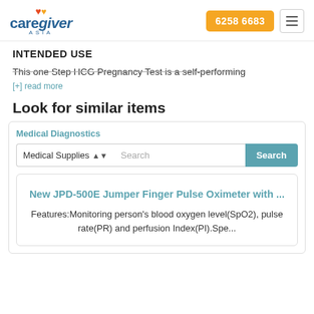[Figure (logo): Caregiver Asia logo with orange and yellow hearts above the text, and phone number button '6258 6683' and hamburger menu icon]
INTENDED USE
This one Step HCG Pregnancy Test is a self-performing
[+] read more
Look for similar items
Medical Diagnostics
Medical Supplies ⬦  Search  Search
New JPD-500E Jumper Finger Pulse Oximeter with ...
Features:Monitoring person's blood oxygen level(SpO2), pulse rate(PR) and perfusion Index(PI).Spe...